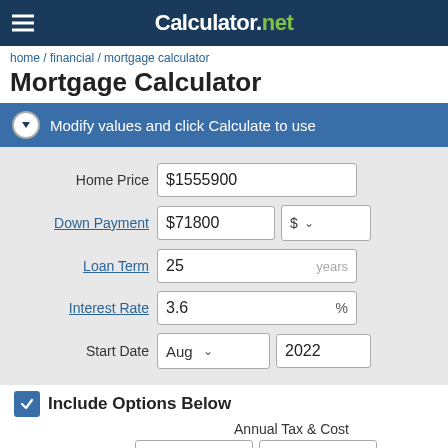Calculator.net
home / financial / mortgage calculator
Mortgage Calculator
Modify values and click Calculate to use
| Field | Value |
| --- | --- |
| Home Price | $1555900 |
| Down Payment | $71800  $ |
| Loan Term | 25 years |
| Interest Rate | 3.6 % |
| Start Date | Aug  2022 |
Include Options Below
Annual Tax & Cost